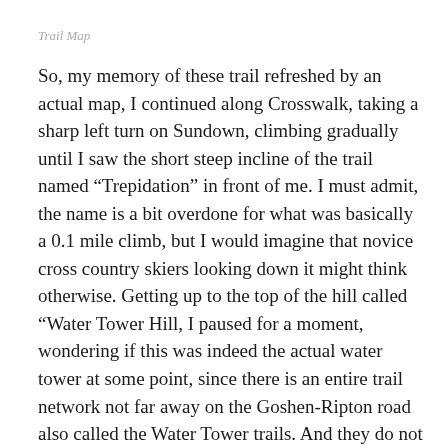Trail Map
So, my memory of these trail refreshed by an actual map, I continued along Crosswalk, taking a sharp left turn on Sundown, climbing gradually until I saw the short steep incline of the trail named “Trepidation” in front of me. I must admit, the name is a bit overdone for what was basically a 0.1 mile climb, but I would imagine that novice cross country skiers looking down it might think otherwise. Getting up to the top of the hill called “Water Tower Hill, I paused for a moment, wondering if this was indeed the actual water tower at some point, since there is an entire trail network not far away on the Goshen-Ripton road also called the Water Tower trails. And they do not connect to this hill. Perhaps there were two water towers in comparably sparsely settled places, a few miles apart? I doubt it. To add to the confusion, one of the small hills behind the Rikert Ski Touring center is called Fire Tower Hill. Were the water towers there to help put out the